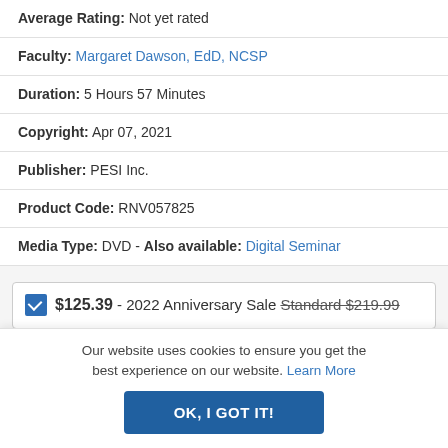Average Rating: Not yet rated
Faculty: Margaret Dawson, EdD, NCSP
Duration: 5 Hours 57 Minutes
Copyright: Apr 07, 2021
Publisher: PESI Inc.
Product Code: RNV057825
Media Type: DVD - Also available: Digital Seminar
$125.39 - 2022 Anniversary Sale Standard $219.99
Our website uses cookies to ensure you get the best experience on our website. Learn More
OK, I GOT IT!